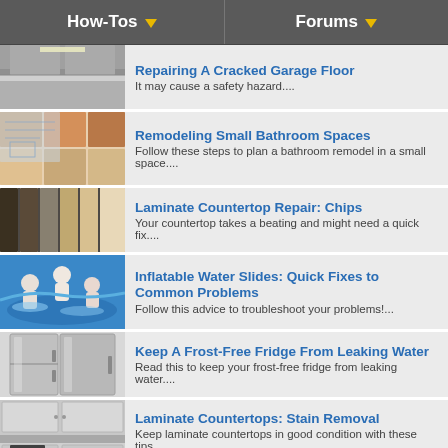How-Tos | Forums
Repairing A Cracked Garage Floor – It may cause a safety hazard....
Remodeling Small Bathroom Spaces – Follow these steps to plan a bathroom remodel in a small space....
Laminate Countertop Repair: Chips – Your countertop takes a beating and might need a quick fix....
Inflatable Water Slides: Quick Fixes to Common Problems – Follow this advice to troubleshoot your problems!...
Keep A Frost-Free Fridge From Leaking Water – Read this to keep your frost-free fridge from leaking water....
Laminate Countertops: Stain Removal – Keep laminate countertops in good condition with these tips....